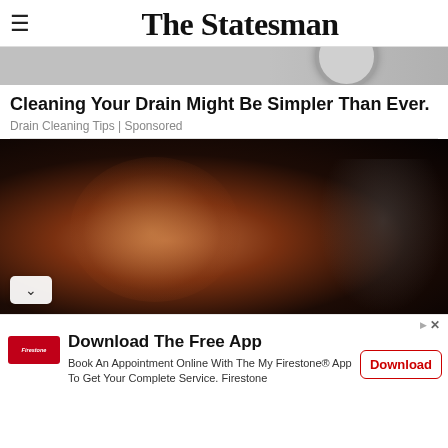The Statesman
[Figure (photo): Close-up photo of a drain/sink top portion, light gray]
Cleaning Your Drain Might Be Simpler Than Ever.
Drain Cleaning Tips | Sponsored
[Figure (photo): Dark photo of a woman's face illuminated from the side, with another person partially visible on the right wearing a floral shirt]
[Figure (infographic): Advertisement banner: Download The Free App — Book An Appointment Online With The My Firestone® App To Get Your Complete Service. Firestone. With Firestone logo and Download button.]